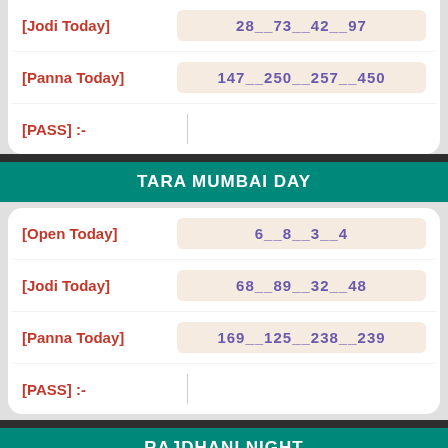| Label | Value |
| --- | --- |
| [Jodi Today] | 28__73__42__97 |
| [Panna Today] | 147__250__257__450 |
| [PASS] :- |  |
TARA MUMBAI DAY
| Label | Value |
| --- | --- |
| [Open Today] | 6__8__3__4 |
| [Jodi Today] | 68__89__32__48 |
| [Panna Today] | 169__125__238__239 |
| [PASS] :- |  |
RAJDHANI NIGHT
| Label | Value |
| --- | --- |
| [Open Today] | Holiday........ |